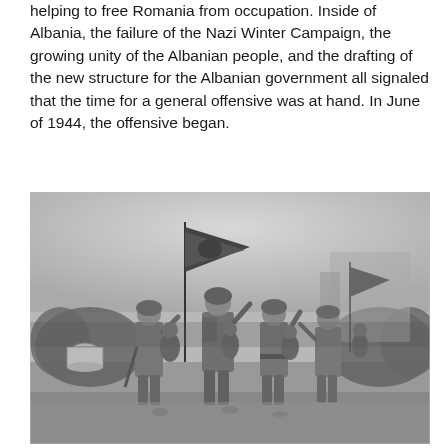helping to free Romania from occupation. Inside of Albania, the failure of the Nazi Winter Campaign, the growing unity of the Albanian people, and the drafting of the new structure for the Albanian government all signaled that the time for a general offensive was at hand. In June of 1944, the offensive began.
[Figure (photo): Black and white historical photograph showing soldiers marching in formation, carrying a flag, with crowds on the sides, likely from World War II era Albania.]